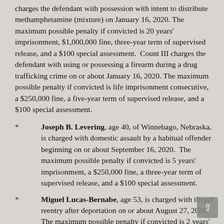charges the defendant with possession with intent to distribute methamphetamine (mixture) on January 16, 2020. The maximum possible penalty if convicted is 20 years' imprisonment, $1,000,000 fine, three-year term of supervised release, and a $100 special assessment.  Count III charges the defendant with using or possessing a firearm during a drug trafficking crime on or about January 16, 2020. The maximum possible penalty if convicted is life imprisonment consecutive, a $250,000 fine, a five-year term of supervised release, and a $100 special assessment.
Joseph B. Levering, age 40, of Winnebago, Nebraska, is charged with domestic assault by a habitual offender beginning on or about September 16, 2020.  The maximum possible penalty if convicted is 5 years' imprisonment, a $250,000 fine, a three-year term of supervised release, and a $100 special assessment.
Miguel Lucas-Bernabe, age 53, is charged with illegal reentry after deportation on or about August 27, 2020.  The maximum possible penalty if convicted is 2 years'